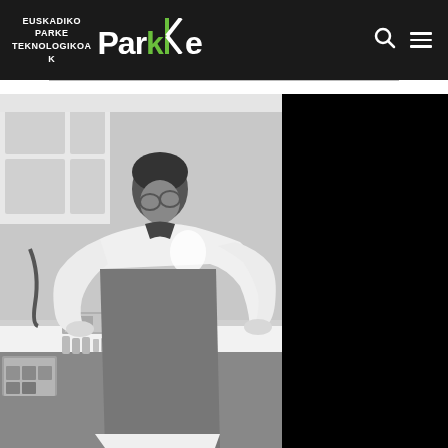[Figure (logo): Euskadiko Parke Teknologikoak logo with white and green 'Parke' text on dark background, plus search and menu icons]
[Figure (photo): Black and white photograph of a scientist in a white lab coat working at a laboratory bench with equipment and supplies; right portion of image is solid black]